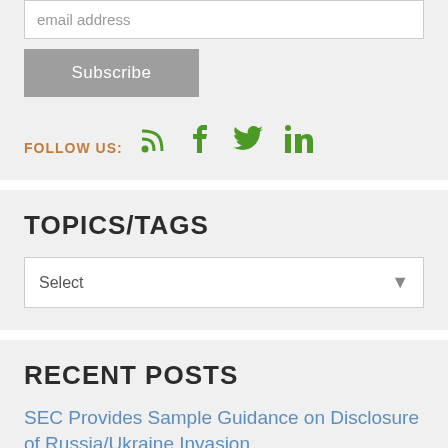email address
Subscribe
FOLLOW US:
TOPICS/TAGS
Select
RECENT POSTS
SEC Provides Sample Guidance on Disclosure of Russia/Ukraine Invasion